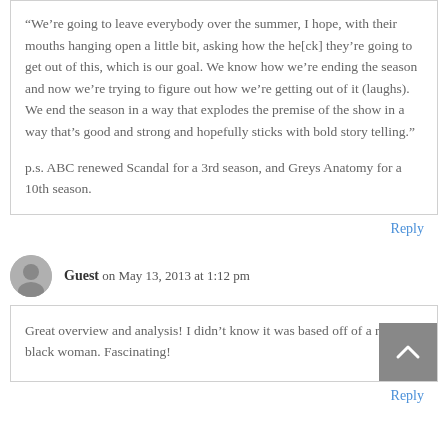“We’re going to leave everybody over the summer, I hope, with their mouths hanging open a little bit, asking how the he[ck] they’re going to get out of this, which is our goal. We know how we’re ending the season and now we’re trying to figure out how we’re getting out of it (laughs). We end the season in a way that explodes the premise of the show in a way that’s good and strong and hopefully sticks with bold story telling.”
p.s. ABC renewed Scandal for a 3rd season, and Greys Anatomy for a 10th season.
Reply
Guest on May 13, 2013 at 1:12 pm
Great overview and analysis! I didn’t know it was based off of a real black woman. Fascinating!
Reply